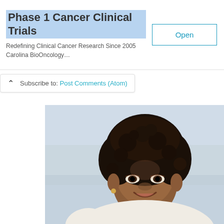Phase 1 Cancer Clinical Trials
Redefining Clinical Cancer Research Since 2005
Carolina BioOncology…
Subscribe to: Post Comments (Atom)
[Figure (photo): A smiling middle-aged Black woman with curly hair wearing a white top, photographed outdoors with a blurred background.]